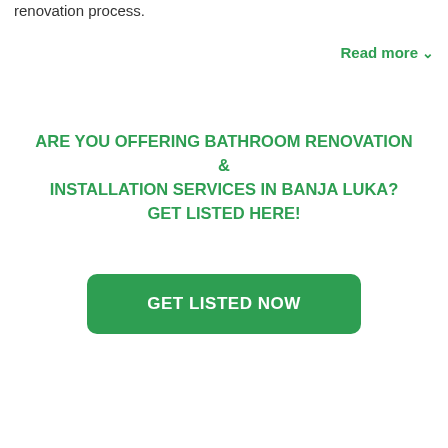renovation process.
Read more
ARE YOU OFFERING BATHROOM RENOVATION & INSTALLATION SERVICES IN BANJA LUKA? GET LISTED HERE!
GET LISTED NOW